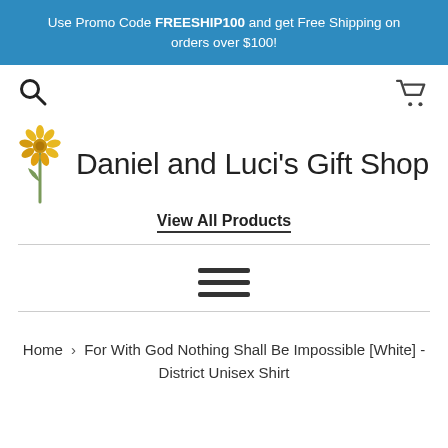Use Promo Code FREESHIP100 and get Free Shipping on orders over $100!
[Figure (other): Search icon (magnifying glass) on the left, shopping cart icon on the right, navigation bar]
[Figure (logo): Daniel and Luci's Gift Shop logo with a flower/zinnia stem illustration and store name text]
View All Products
[Figure (other): Hamburger menu icon with three horizontal lines]
Home › For With God Nothing Shall Be Impossible [White] - District Unisex Shirt